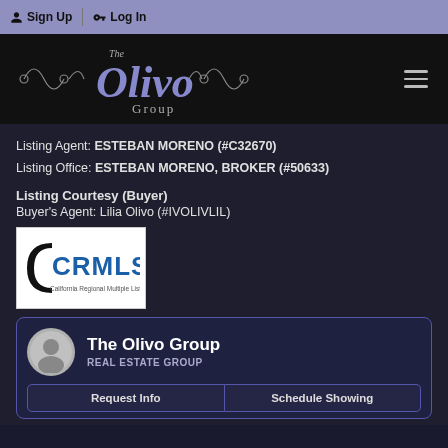Sign Up  Log In
[Figure (logo): The Olivo Group ornate cursive logo on black background with decorative flourishes]
Listing Agent: ESTEBAN MORENO (#C32670)
Listing Office: ESTEBAN MORENO, BROKER (#50633)
Listing Courtesy (Buyer)
Buyer's Agent: Lilia Olivo (#IVOLIVLIL)
[Figure (logo): CRMLS California Regional Multiple Listing Service, Inc. logo]
The Olivo Group
REAL ESTATE GROUP
Request Info
Schedule Showing